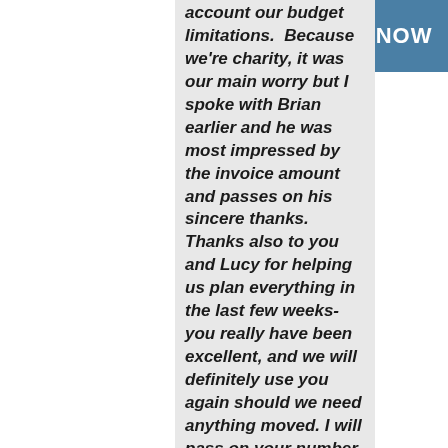[Figure (other): Blue rectangular banner with white bold text reading BOOK NOW]
account our budget limitations.  Because we're charity, it was our main worry but I spoke with Brian earlier and he was most impressed by the invoice amount and passes on his sincere thanks. Thanks also to you and Lucy for helping us plan everything in the last few weeks- you really have been excellent, and we will definitely use you again should we need anything moved. I will pass on your number should anyone need a